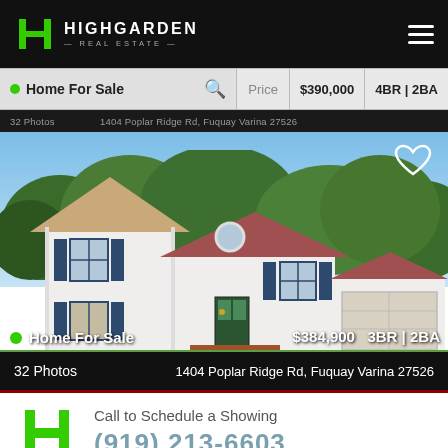[Figure (logo): Highgarden Real Estate logo on dark navigation bar with hamburger menu]
Home For Sale   Price $390,000   4BR | 2BA
32 Photos   1404 Poplar Ridge Rd, Fuquay Varina 27526
[Figure (photo): Two-story white colonial home with dark blue shutters, brick steps, attached garage, and green trees in background. Listed as Home For Sale at $384,900, 3BR | 2BA.]
32 Photos
1404 Poplar Ridge Rd, Fuquay Varina 27526
Call to Schedule a Showing
(919) 213-6603